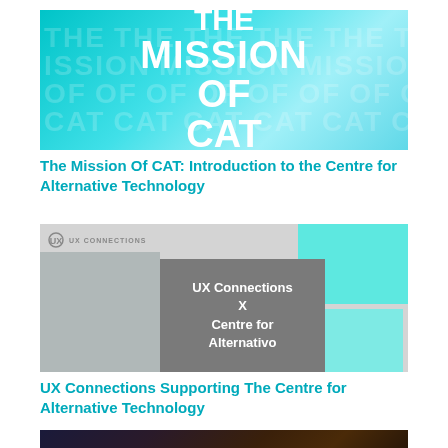[Figure (illustration): Thumbnail image with teal gradient background and large bold white text reading THE MISSION OF CAT, with repeated ghost text pattern behind]
The Mission Of CAT: Introduction to the Centre for Alternative Technology
[Figure (illustration): Thumbnail image for UX Connections article showing grey columns, teal rectangles, and dark grey overlay with white text: UX Connections X Centre for Alternative ...]
UX Connections Supporting The Centre for Alternative Technology
[Figure (photo): Dark moody photo, partially visible at bottom of page]